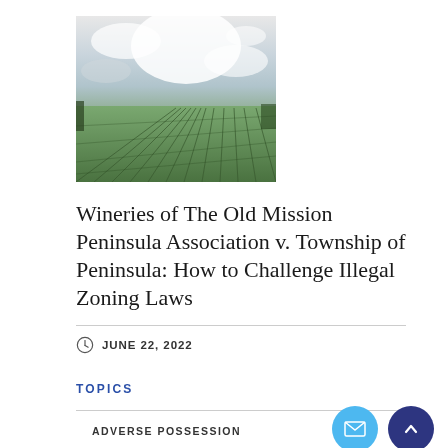[Figure (photo): Aerial/ground-level view of vineyard rows on a green hillside under dramatic cloudy sky]
Wineries of The Old Mission Peninsula Association v. Township of Peninsula: How to Challenge Illegal Zoning Laws
JUNE 22, 2022
TOPICS
ADVERSE POSSESSION
COMMERCIAL LEASING
COMMERCIAL REAL ESTATE